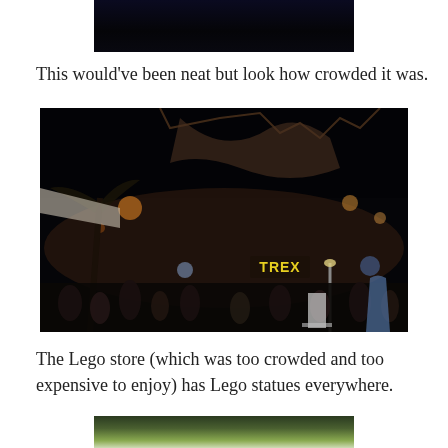[Figure (photo): Dark nighttime photo at top of page, partially cropped]
This would've been neat but look how crowded it was.
[Figure (photo): Nighttime photo of T-Rex restaurant entrance with crowds of people, illuminated TREX sign visible in yellow]
The Lego store (which was too crowded and too expensive to enjoy) has Lego statues everywhere.
[Figure (photo): Bottom partial photo showing colorful Lego statue, partially cropped at bottom of page]